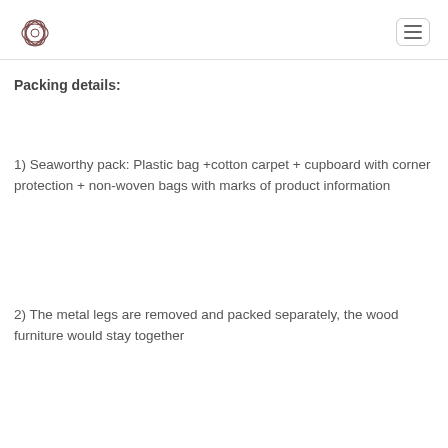[logo] [navigation menu icon]
Packing details:
1) Seaworthy pack: Plastic bag +cotton carpet + cupboard with corner protection + non-woven bags with marks of product information
2) The metal legs are removed and packed separately, the wood furniture would stay together